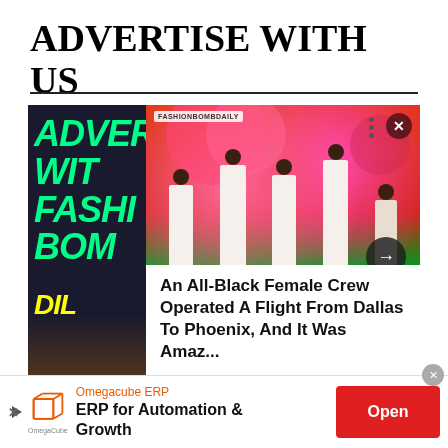ADVERTISE WITH US
[Figure (photo): A collage image: left panel shows neon green text 'ADVER WIT FASHI BOM' on dark background with hand/jewelry, right panel shows group of Black women in white outfits in front of a colorful mural; overlaid navigation elements including close X button, three-dot menu, and right arrow button; news article overlay reads 'An All-Black Female Crew Operated A Flight From Dallas To Phoenix, And It Was Amaz...']
An All-Black Female Crew Operated A Flight From Dallas To Phoenix, And It Was Amaz...
[Figure (infographic): Advertisement banner for Omegacube ERP at bottom of page with logo, brand name, tagline 'ERP for Automation & Growth', and red Open button]
Omegacube ERP
ERP for Automation & Growth
Open